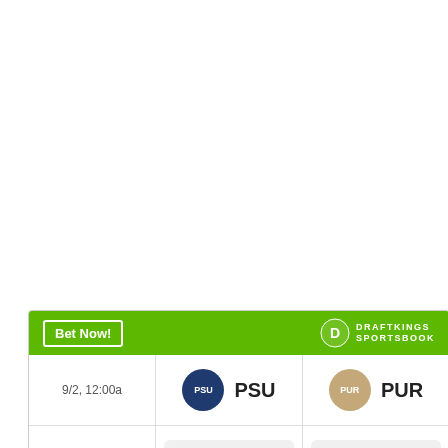| Date | Team 1 | Team 2 |
| --- | --- | --- |
| 9/2, 12:00a | PSU | PUR |
| SPREAD | -3  (-120) | +3  (+100) |